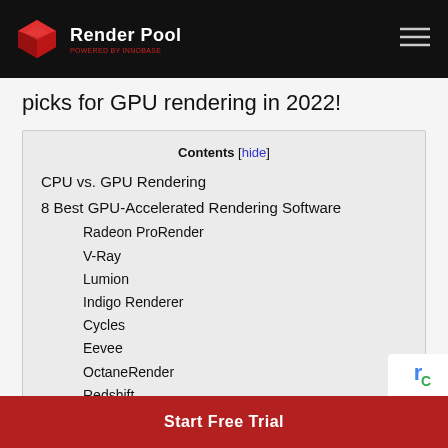Render Pool
picks for GPU rendering in 2022!
Contents [hide]
CPU vs. GPU Rendering
8 Best GPU-Accelerated Rendering Software
Radeon ProRender
V-Ray
Lumion
Indigo Renderer
Cycles
Eevee
OctaneRender
Redshift
Start Free Trial